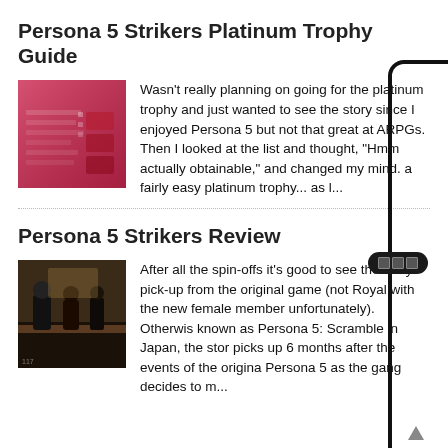Persona 5 Strikers Platinum Trophy Guide
[Figure (screenshot): Thumbnail of Persona 5 Strikers trophy list screen with red background and menu items]
Wasn't really planning on going for the platinum trophy and just wanted to see the story since I enjoyed Persona 5 but not that great at ARPGs. Then I looked at the list and thought, "Hmm actually obtainable," and changed my mind. a fairly easy platinum trophy... as l...
Persona 5 Strikers Review
[Figure (screenshot): Thumbnail showing Persona 5 Strikers characters in a cafe/diner scene]
After all the spin-offs it's good to see the story pick-up from the original game (not Royal with the new female member unfortunately). Otherwise known as Persona 5: Scramble in Japan, the story picks up 6 months after the events of the original Persona 5 as the gang decides to m...